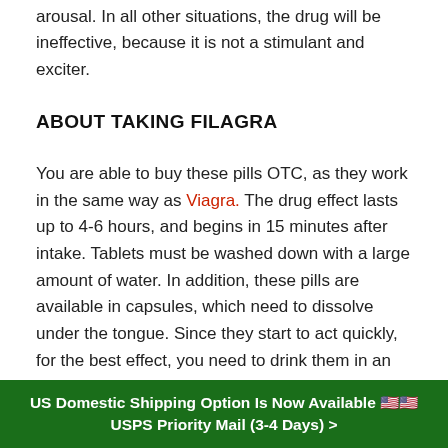arousal. In all other situations, the drug will be ineffective, because it is not a stimulant and exciter.
ABOUT TAKING FILAGRA
You are able to buy these pills OTC, as they work in the same way as Viagra. The drug effect lasts up to 4-6 hours, and begins in 15 minutes after intake. Tablets must be washed down with a large amount of water. In addition, these pills are available in capsules, which need to dissolve under the tongue. Since they start to act quickly, for the best effect, you need to drink them in an hour before the planned sex. It is also important to know that in a situation of simultaneous medicine use together with fatty food, the effect will take a
US Domestic Shipping Option Is Now Available 🇺🇸🇺🇸 USPS Priority Mail (3-4 Days) >